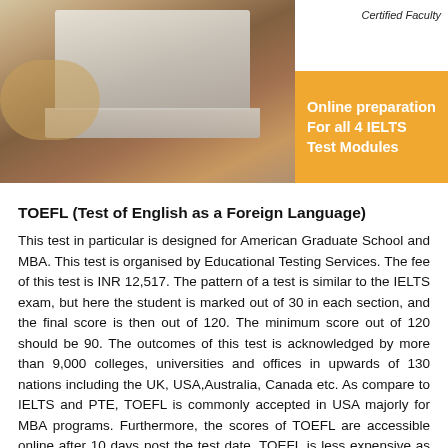[Figure (photo): Banner image showing a person using a laptop, with an orange box on the right displaying 'Online preparation For all 4 IELTS Test Modules' and 'Certified Faculty' text above it.]
TOEFL (Test of English as a Foreign Language)
This test in particular is designed for American Graduate School and MBA. This test is organised by Educational Testing Services. The fee of this test is INR 12,517. The pattern of a test is similar to the IELTS exam, but here the student is marked out of 30 in each section, and the final score is then out of 120. The minimum score out of 120 should be 90. The outcomes of this test is acknowledged by more than 9,000 colleges, universities and offices in upwards of 130 nations including the UK, USA,Australia, Canada etc. As compare to IELTS and PTE, TOEFL is commonly accepted in USA majorly for MBA programs. Furthermore, the scores of TOEFL are accessible online after 10 days post the test date. TOEFL is less expensive as compared to the other two tests. Along with IELTS, Admissify also provides online TOEFL coaching in New Delhi. Students who score more than 100 in TOEFL will have a good opportunity to apply…